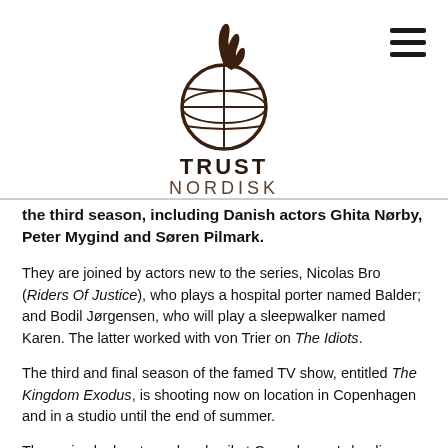[Figure (logo): Trust Nordisk logo — a globe with a hand/flame motif on top, with text TRUST in bold dark brown and NORDISK below in lighter brown letters]
the third season, including Danish actors Ghita Nørby, Peter Mygind and Søren Pilmark.
They are joined by actors new to the series, Nicolas Bro (Riders Of Justice), who plays a hospital porter named Balder; and Bodil Jørgensen, who will play a sleepwalker named Karen. The latter worked with von Trier on The Idiots.
The third and final season of the famed TV show, entitled The Kingdom Exodus, is shooting now on location in Copenhagen and in a studio until the end of summer.
The series looks at good and evil at Copenhagen's leading hospital, Rigshospitalet. Jørgensen takes on one of the